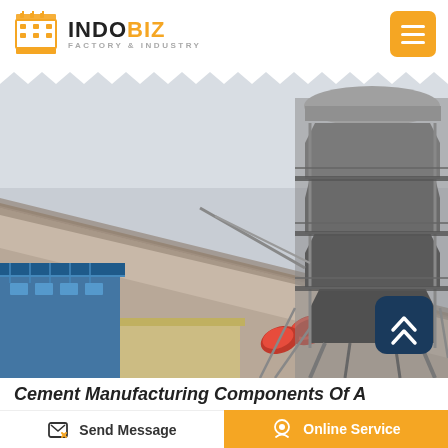INDOBIZ FACTORY & INDUSTRY
[Figure (photo): Industrial cement plant rotary kiln tube and large cylindrical preheater tower structure with scaffolding, metal walkways, and blue building. Overcast sky background.]
Cement Manufacturing Components Of A
Send Message
Online Service